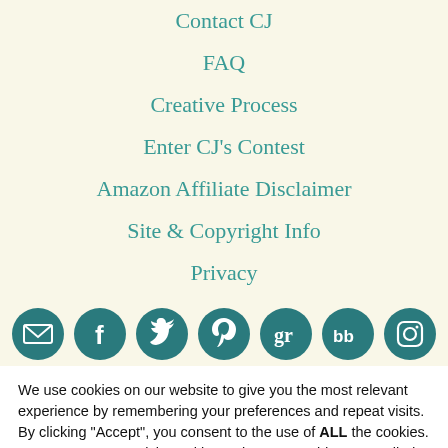Contact CJ
FAQ
Creative Process
Enter CJ's Contest
Amazon Affiliate Disclaimer
Site & Copyright Info
Privacy
[Figure (illustration): Row of 7 circular teal social media icons: email, Facebook, Twitter, Pinterest, Goodreads, BookBub, Instagram]
We use cookies on our website to give you the most relevant experience by remembering your preferences and repeat visits. By clicking "Accept", you consent to the use of ALL the cookies. However you may visit Cookie Settings to provide a controlled consent.
Cookie settings | ACCEPT